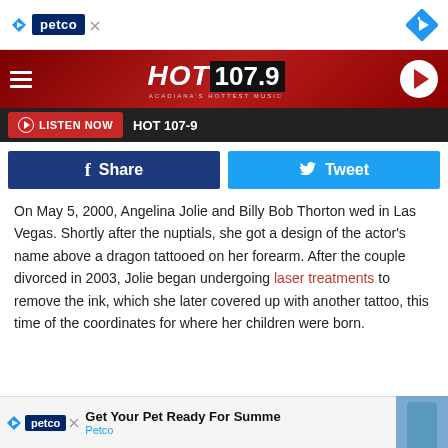[Figure (screenshot): Top advertisement banner with Petco logo and navigation diamond icon on white background]
[Figure (logo): HOT 107.9 radio station header bar with hamburger menu, logo, and play button]
[Figure (screenshot): Listen Now bar with red button and HOT 107-9 text on dark background]
[Figure (screenshot): Facebook Share and Twitter Tweet social sharing buttons]
On May 5, 2000, Angelina Jolie and Billy Bob Thorton wed in Las Vegas. Shortly after the nuptials, she got a design of the actor's name above a dragon tattooed on her forearm. After the couple divorced in 2003, Jolie began undergoing laser treatments to remove the ink, which she later covered up with another tattoo, this time of the coordinates for where her children were born.
[Figure (screenshot): Bottom Petco advertisement: Get Your Pet Ready For Summe, with Petco logo and partial photo]